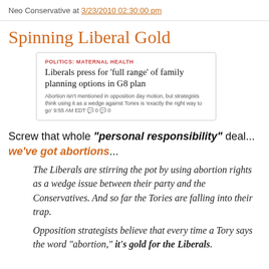Neo Conservative at 3/23/2010 02:30:00 pm
Spinning Liberal Gold
[Figure (screenshot): Screenshot of a news article snippet: 'POLITICS: MATERNAL HEALTH' category label in red, headline 'Liberals press for full range of family planning options in G8 plan', subtext 'Abortion isn't mentioned in opposition day motion, but strategists think using it as a wedge against Tories is exactly the right way to go 9:55 AM EDT 0 0']
Screw that whole "personal responsibility" deal... we've got abortions...
The Liberals are stirring the pot by using abortion rights as a wedge issue between their party and the Conservatives. And so far the Tories are falling into their trap.
Opposition strategists believe that every time a Tory says the word "abortion," it's gold for the Liberals.